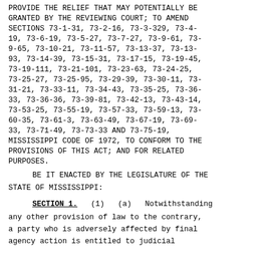PROVIDE THE RELIEF THAT MAY POTENTIALLY BE GRANTED BY THE REVIEWING COURT; TO AMEND SECTIONS 73-1-31, 73-2-16, 73-3-329, 73-4-19, 73-6-19, 73-5-27, 73-7-27, 73-9-61, 73-9-65, 73-10-21, 73-11-57, 73-13-37, 73-13-93, 73-14-39, 73-15-31, 73-17-15, 73-19-45, 73-19-111, 73-21-101, 73-23-63, 73-24-25, 73-25-27, 73-25-95, 73-29-39, 73-30-11, 73-31-21, 73-33-11, 73-34-43, 73-35-25, 73-36-33, 73-36-36, 73-39-81, 73-42-13, 73-43-14, 73-53-25, 73-55-19, 73-57-33, 73-59-13, 73-60-35, 73-61-3, 73-63-49, 73-67-19, 73-69-33, 73-71-49, 73-73-33 AND 73-75-19, MISSISSIPPI CODE OF 1972, TO CONFORM TO THE PROVISIONS OF THIS ACT; AND FOR RELATED PURPOSES.
BE IT ENACTED BY THE LEGISLATURE OF THE STATE OF MISSISSIPPI:
SECTION 1.  (1)  (a)  Notwithstanding any other provision of law to the contrary, a party who is adversely affected by final agency action is entitled to judicial